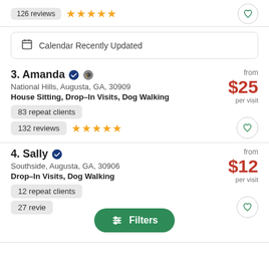126 reviews ★★★★★
Calendar Recently Updated
3. Amanda — National Hills, Augusta, GA, 30909 — House Sitting, Drop-In Visits, Dog Walking — from $25 per visit — 83 repeat clients — 132 reviews ★★★★★
4. Sally — Southside, Augusta, GA, 30906 — Drop-In Visits, Dog Walking — from $12 per visit — 12 repeat clients — 27 reviews
Filters